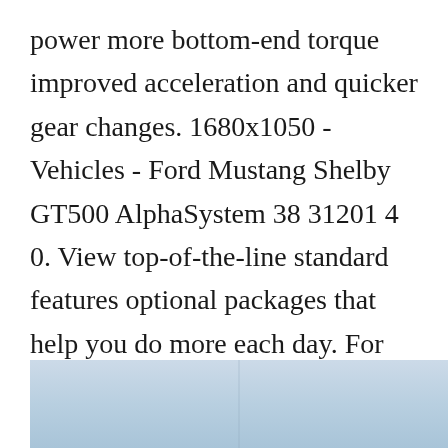power more bottom-end torque improved acceleration and quicker gear changes. 1680x1050 - Vehicles - Ford Mustang Shelby GT500 AlphaSystem 38 31201 4 0. View top-of-the-line standard features optional packages that help you do more each day. For instance the Ebony color combination could be ordered in either cloth or leather. New 2019 ford f 150 truck raptor velocity blue for sale in hawley.
[Figure (photo): Partial photo showing a light blue sky background, with a faint vertical line near the center bottom, likely a vehicle photograph cropped at the bottom of the page.]